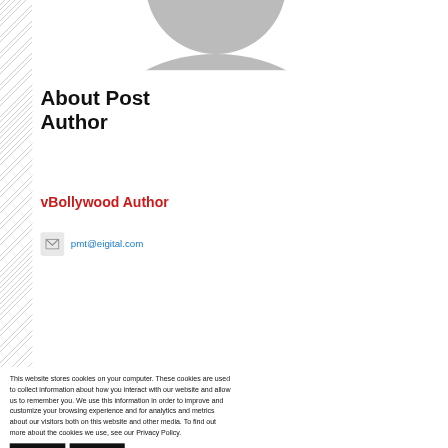[Figure (illustration): Generic user avatar/silhouette placeholder image in gray tones at top of author card]
About Post Author
vBollywood Author
pmt@eigital.com
This website stores cookies on your computer. These cookies are used to collect information about how you interact with our website and allow us to remember you. We use this information in order to improve and customize your browsing experience and for analytics and metrics about our visitors both on this website and other media. To find out more about the cookies we use, see our Privacy Policy.